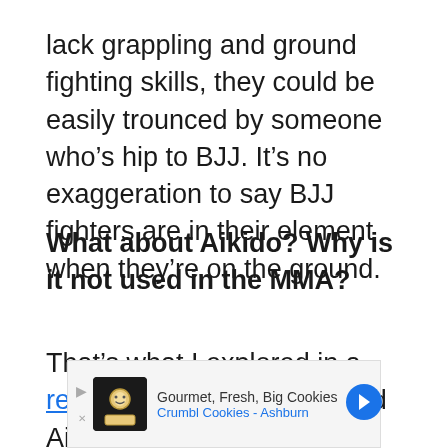lack grappling and ground fighting skills, they could be easily trounced by someone who's hip to BJJ. It's no exaggeration to say BJJ fighters are in their element when they're on the ground.
What about Aikido? Why is it not used in the MMA?
That's what I explored in a recent article where I shared Aikido techniques that are banned in MMA (if any) and which ones are allowed. I also shared UFC fighters who are
[Figure (other): Advertisement banner for Crumbl Cookies - Ashburn: Gourmet, Fresh, Big Cookies]